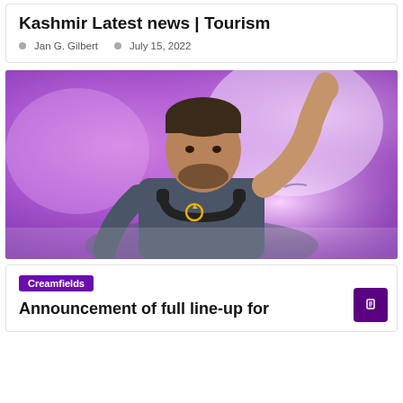Kashmir Latest news | Tourism
Jan G. Gilbert   July 15, 2022
[Figure (photo): A man with headphones around his neck pointing upward with one finger against a purple/pink bokeh background, wearing a dark grey t-shirt.]
Creamfields
Announcement of full line-up for